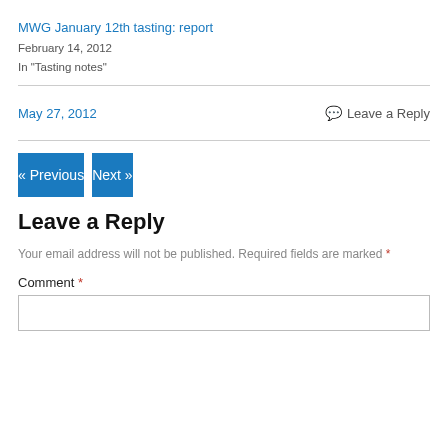MWG January 12th tasting: report
February 14, 2012
In "Tasting notes"
May 27, 2012
Leave a Reply
« Previous
Next »
Leave a Reply
Your email address will not be published. Required fields are marked *
Comment *